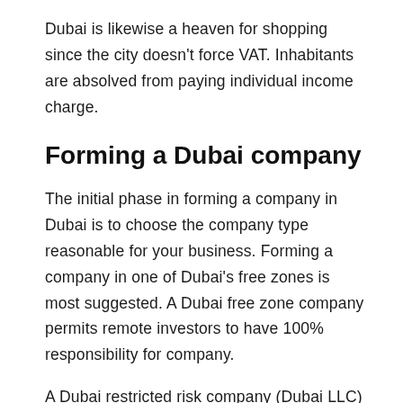Dubai is likewise a heaven for shopping since the city doesn't force VAT. Inhabitants are absolved from paying individual income charge.
Forming a Dubai company
The initial phase in forming a company in Dubai is to choose the company type reasonable for your business. Forming a company in one of Dubai's free zones is most suggested. A Dubai free zone company permits remote investors to have 100% responsibility for company.
A Dubai restricted risk company (Dubai LLC) , limits outsiders to take ownership of 49% of the company. A UAE national will claim the remaining 51% of offers. Just